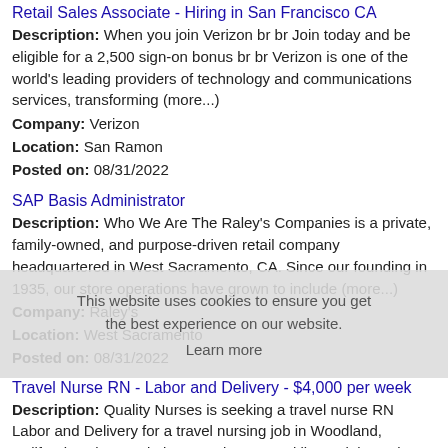Retail Sales Associate - Hiring in San Francisco CA
Description: When you join Verizon br br Join today and be eligible for a 2,500 sign-on bonus br br Verizon is one of the world's leading providers of technology and communications services, transforming (more...)
Company: Verizon
Location: San Ramon
Posted on: 08/31/2022
SAP Basis Administrator
Description: Who We Are The Raley's Companies is a private, family-owned, and purpose-driven retail company headquartered in West Sacramento, CA. Since our founding in 1935, our store operations have grown to include (more...)
Company: Raley's
Location: West Sacramento
Posted on: 08/31/2022
Travel Nurse RN - Labor and Delivery - $4,000 per week
Description: Quality Nurses is seeking a travel nurse RN Labor and Delivery for a travel nursing job in Woodland, California.Job Description Requirements ul li Specialty: Labor and Delivery li Discipline: (more...)
Company: Quality Nurses